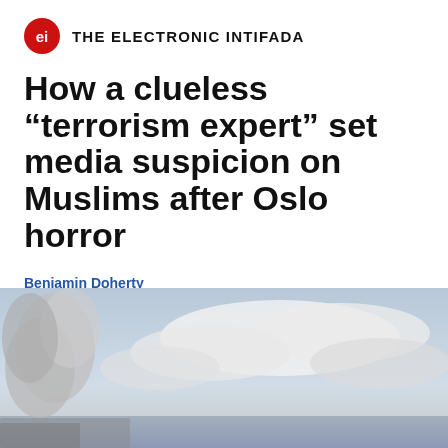THE ELECTRONIC INTIFADA
How a clueless “terrorism expert” set media suspicion on Muslims after Oslo horror
Benjamin Doherty
Media Watch
23 July 2011
[Figure (photo): Photograph of a cloudy sky with some smoke or haze visible on the left side, over what appears to be water near a shoreline.]